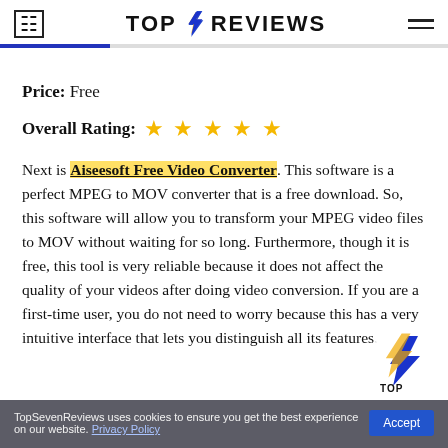TOP 4 REVIEWS
Price: Free
Overall Rating: ★★★★★
Next is Aiseesoft Free Video Converter. This software is a perfect MPEG to MOV converter that is a free download. So, this software will allow you to transform your MPEG video files to MOV without waiting for so long. Furthermore, though it is free, this tool is very reliable because it does not affect the quality of your videos after doing video conversion. If you are a first-time user, you do not need to worry because this has a very intuitive interface that lets you distinguish all its features.
TopSevenReviews uses cookies to ensure you get the best experience on our website. Privacy Policy  Accept